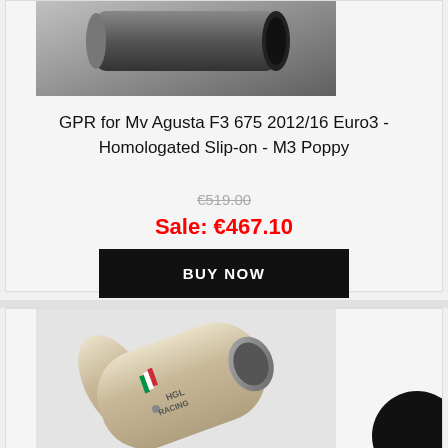[Figure (photo): Partial view of a motorcycle exhaust/silencer product, dark colored, visible at top of card]
GPR for Mv Agusta F3 675 2012/16 Euro3 - Homologated Slip-on - M3 Poppy
€519.00 (strikethrough original price)
Sale: €467.10
BUY NOW
[Figure (photo): Stainless steel motorcycle exhaust silencer with GPR HGL Racing logo and Italian flag stripe, angled view]